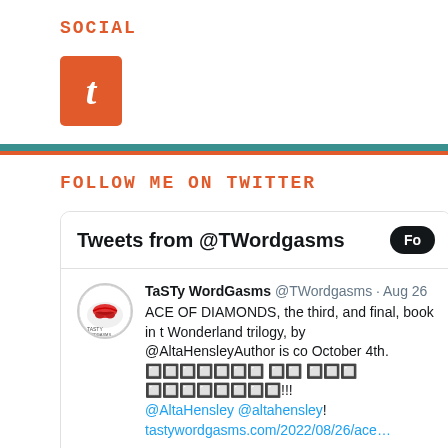SOCIAL
[Figure (logo): Tumblr icon - orange square with white italic letter t]
FOLLOW ME ON TWITTER
[Figure (screenshot): Twitter widget showing Tweets from @TWordgasms. Tweet by TaSTy WordGasms @TWordgasms on Aug 26: ACE OF DIAMONDS, the third, and final, book in the Wonderland trilogy, by @AltaHensleyAuthor is coming October 4th. [emoji] [emoji] [emoji] [emojis]!!! @AltaHensley @altahensley! tastywordgasms.com/2022/08/26/ace...]